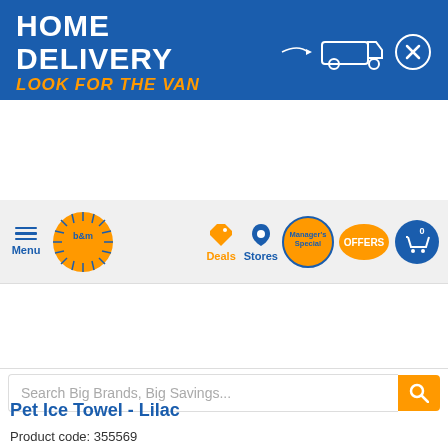[Figure (screenshot): B&M website banner: HOME DELIVERY LOOK FOR THE VAN with van icon and close button]
[Figure (screenshot): B&M navigation bar with hamburger menu, B&M logo, Deals, Stores, Manager's Special, OFFERS badges and cart icon]
Search Big Brands, Big Savings...
HOME DELIVERY AVAILABLE
Look for the orange van and buy online
BROWSE CATEGORIES
Home > Pets > Pet Accessories > Pet Ice Towel - Lilac
Pet Ice Towel - Lilac
Product code: 355569